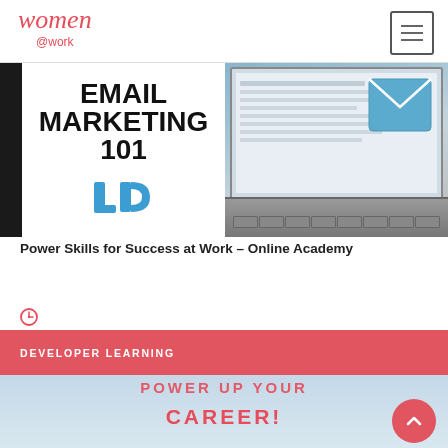[Figure (screenshot): Women @work website header with cursive logo and hamburger menu button]
[Figure (illustration): Email Marketing 101 banner image split: left side shows bold text EMAIL MARKETING 101 with LD logo in blue, right side shows laptop with email envelope icon on screen]
Power Skills for Success at Work – Online Academy
[Figure (other): Clock/time icon circle]
DEVELOPER LEARNING
[Figure (other): Bottom banner showing POWER UP YOUR CAREER! text in coral/red on light blue gradient background, with scroll-to-top button]